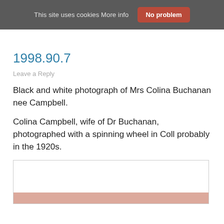This site uses cookies More info  No problem
1998.90.7
Leave a Reply
Black and white photograph of Mrs Colina Buchanan nee Campbell.
Colina Campbell, wife of Dr Buchanan, photographed with a spinning wheel in Coll probably in the 1920s.
[Figure (photo): Partially visible photograph at the bottom of the page, showing a white area with a reddish/brown element at the bottom edge.]